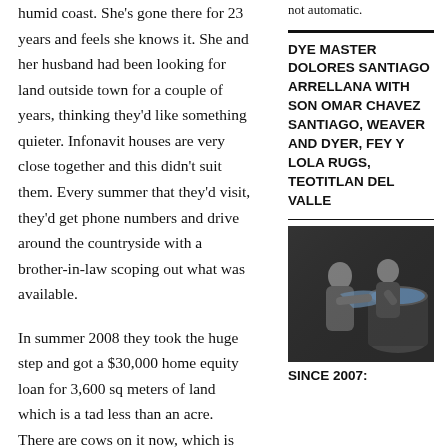humid coast.  She's gone there for 23 years and feels she knows it.  She and her husband had been looking for land outside town for a couple of years, thinking they'd like something quieter.  Infonavit houses are very close together and this didn't suit them. Every summer that they'd visit, they'd get phone numbers and drive around the countryside with a brother-in-law scoping out what was available.
In summer 2008 they took the huge step and got a $30,000 home equity loan for 3,600 sq meters of land which is a tad less than an acre.  There are cows on it now, which is dandy, Ann says.  There are sheep
not automatic.
DYE MASTER DOLORES SANTIAGO ARRELLANA WITH SON OMAR CHAVEZ SANTIAGO, WEAVER AND DYER, FEY Y LOLA RUGS, TEOTITLAN DEL VALLE
[Figure (photo): Black and white photo of a person (presumably Dye Master Dolores Santiago Arrellana) and son Omar Chavez Santiago working with dye in a large vat or drum.]
SINCE 2007: